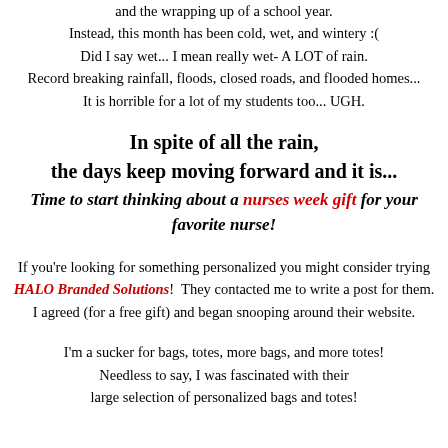and the wrapping up of a school year.
Instead, this month has been cold, wet, and wintery :(
Did I say wet... I mean really wet- A LOT of rain.
Record breaking rainfall, floods, closed roads, and flooded homes...
It is horrible for a lot of my students too... UGH.
In spite of all the rain,
the days keep moving forward and it is...
Time to start thinking about a nurses week gift for your favorite nurse!
If you're looking for something personalized you might consider trying
HALO Branded Solutions!  They contacted me to write a post for them.
I agreed (for a free gift) and began snooping around their website.
I'm a sucker for bags, totes, more bags, and more totes!
Needless to say, I was fascinated with their
large selection of personalized bags and totes!